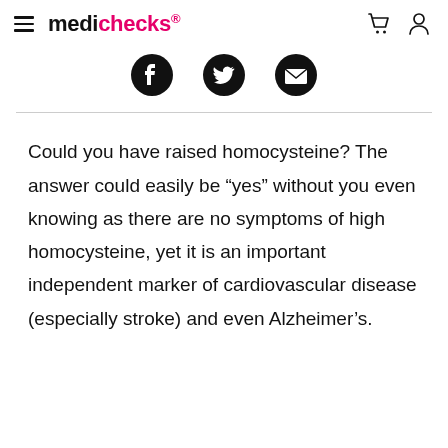medichecks
[Figure (illustration): Social share icons: Facebook, Twitter, Email]
Could you have raised homocysteine? The answer could easily be “yes” without you even knowing as there are no symptoms of high homocysteine, yet it is an important independent marker of cardiovascular disease (especially stroke) and even Alzheimer’s.